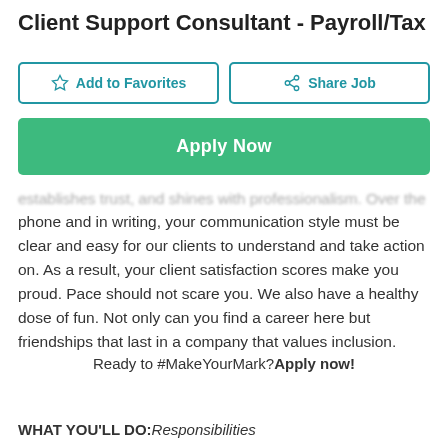Client Support Consultant - Payroll/Tax
establishes trust, and shines with professionalism. Over the phone and in writing, your communication style must be clear and easy for our clients to understand and take action on. As a result, your client satisfaction scores make you proud. Pace should not scare you. We also have a healthy dose of fun. Not only can you find a career here but friendships that last in a company that values inclusion.
Ready to #MakeYourMark? Apply now!
WHAT YOU'LL DO: Responsibilities